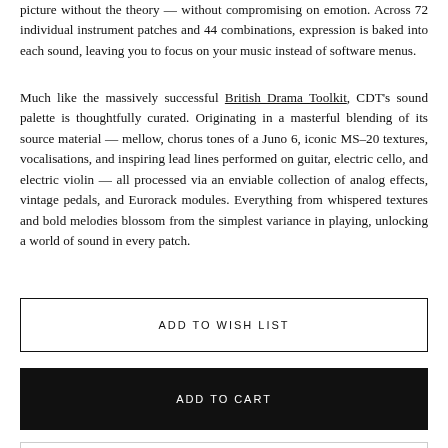picture without the theory — without compromising on emotion. Across 72 individual instrument patches and 44 combinations, expression is baked into each sound, leaving you to focus on your music instead of software menus.
Much like the massively successful British Drama Toolkit, CDT's sound palette is thoughtfully curated. Originating in a masterful blending of its source material — mellow, chorus tones of a Juno 6, iconic MS–20 textures, vocalisations, and inspiring lead lines performed on guitar, electric cello, and electric violin — all processed via an enviable collection of analog effects, vintage pedals, and Eurorack modules. Everything from whispered textures and bold melodies blossom from the simplest variance in playing, unlocking a world of sound in every patch.
ADD TO WISH LIST
ADD TO CART